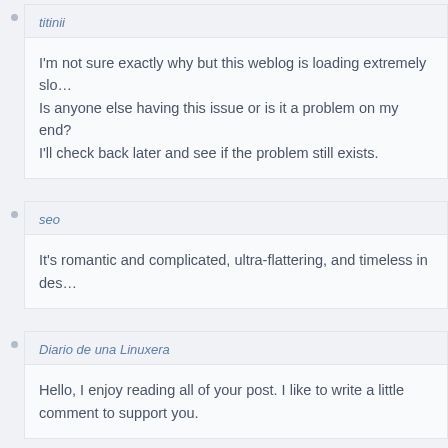titinii
I'm not sure exactly why but this weblog is loading extremely slo… Is anyone else having this issue or is it a problem on my end? I'll check back later and see if the problem still exists.
seo
It's romantic and complicated, ultra-flattering, and timeless in des…
Diario de una Linuxera
Hello, I enjoy reading all of your post. I like to write a little comment to support you.
roulette